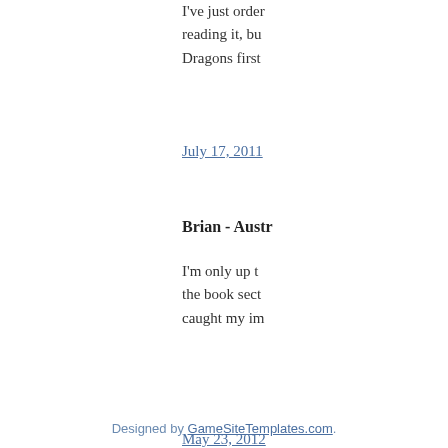I've just order reading it, bu Dragons first
July 17, 2011
Brian - Austr
I'm only up t the book sect caught my im
May 23, 2012
Post a Comment
Newer Post
Subscribe to: Post Comme
Designed by GameSiteTemplates.com.